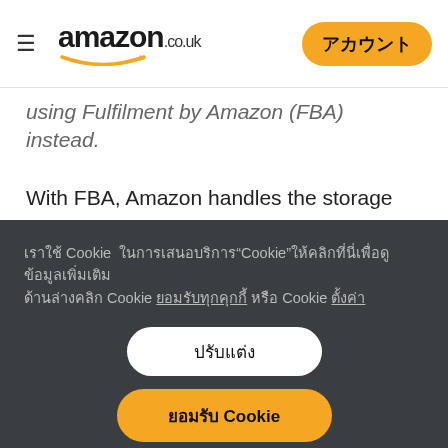amazon.co.uk
using Fulfilment by Amazon (FBA) instead.
With FBA, Amazon handles the storage and delivery of your products. However, before you can start selling using FBA, you have to first package your chosen products according to Amazon's packing guidelines and, following our shipping
เราใช้ Cookie  ในการเสนอบริการ"Cookie"ให้คลิกที่นี่เพื่อดูข้อมูลเพิ่มเติม Cookie ยอมรับทุกคุกกี้ Cookie ตั้งค่า
ปรับแต่ง
ยอมรับ Cookie